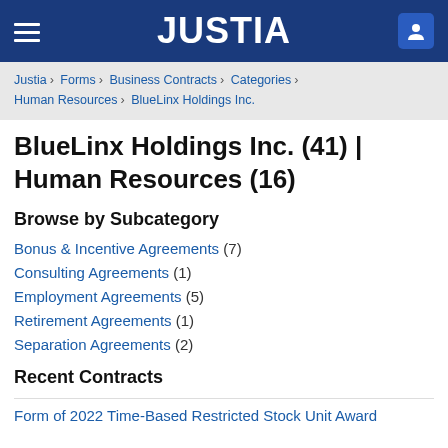JUSTIA
Justia › Forms › Business Contracts › Categories › Human Resources › BlueLinx Holdings Inc.
BlueLinx Holdings Inc. (41) | Human Resources (16)
Browse by Subcategory
Bonus & Incentive Agreements (7)
Consulting Agreements (1)
Employment Agreements (5)
Retirement Agreements (1)
Separation Agreements (2)
Recent Contracts
Form of 2022 Time-Based Restricted Stock Unit Award